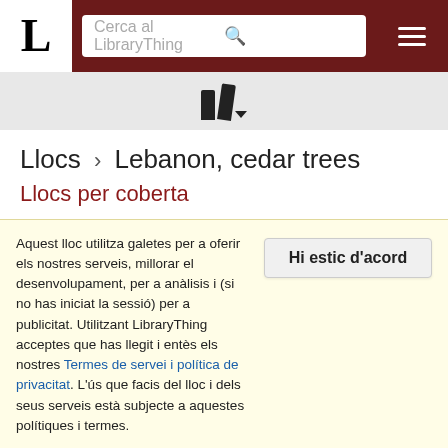LibraryThing navigation bar with logo, search box 'Cerca al LibraryThing', and menu icon
[Figure (logo): LibraryThing books/logo icon in gray bar]
Llocs › Lebanon, cedar trees
Llocs per coberta
[Figure (screenshot): Toolbar with buttons: 'següent ›', 'mostra tots els 117', '≡≡ Títols', '⊞ Cobertes' (active), and a preview strip showing book covers]
Aquest lloc utilitza galetes per a oferir els nostres serveis, millorar el desenvolupament, per a anàlisis i (si no has iniciat la sessió) per a publicitat. Utilitzant LibraryThing acceptes que has llegit i entès els nostres Termes de servei i política de privacitat. L'ús que facis del lloc i dels seus serveis està subjecte a aquestes polítiques i termes.